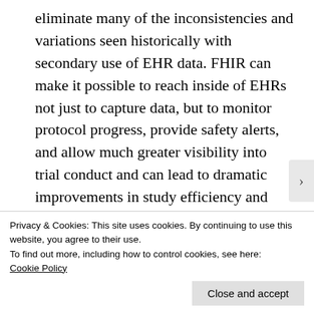eliminate many of the inconsistencies and variations seen historically with secondary use of EHR data. FHIR can make it possible to reach inside of EHRs not just to capture data, but to monitor protocol progress, provide safety alerts, and allow much greater visibility into trial conduct and can lead to dramatic improvements in study efficiency and drug safety.  We need FHIR for better research.
5  The current HL7 C-CDA standard provides
Privacy & Cookies: This site uses cookies. By continuing to use this website, you agree to their use.
To find out more, including how to control cookies, see here:
Cookie Policy